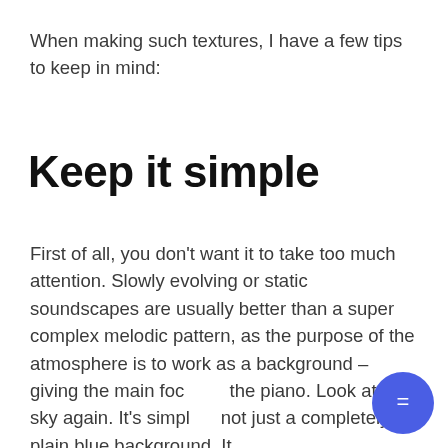When making such textures, I have a few tips to keep in mind:
Keep it simple
First of all, you don't want it to take too much attention. Slowly evolving or static soundscapes are usually better than a super complex melodic pattern, as the purpose of the atmosphere is to work as a background – giving the main focus to the piano. Look at the sky again. It's simple – not just a completely plain blue background. It